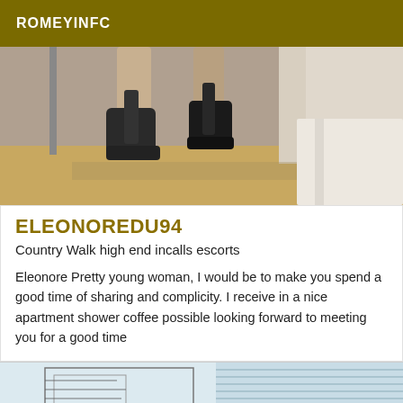ROMEYINFC
[Figure (photo): Close-up photo of a woman's feet wearing black high-heel platform shoes on a wooden floor]
ELEONOREDU94
Country Walk high end incalls escorts
Eleonore Pretty young woman, I would be to make you spend a good time of sharing and complicity. I receive in a nice apartment shower coffee possible looking forward to meeting you for a good time
[Figure (photo): Partial photograph showing a sketch-like or low-contrast image, partially visible at the bottom of the page]